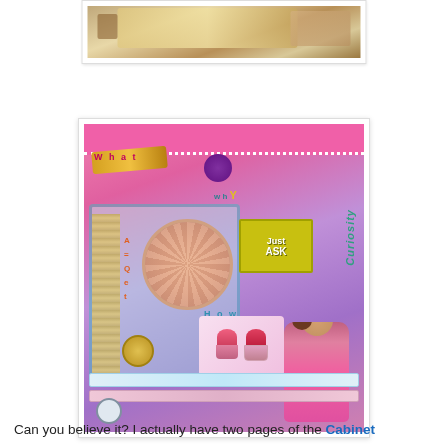[Figure (photo): Top partial photo showing a collage/scrapbook artwork with floral and textured elements on a display stand]
[Figure (photo): Colorful scrapbook/art journal page collage featuring mixed media elements including text letters spelling 'What', 'why', 'Just Ask', 'Curiosity', cupcakes, a woman in pink dress, flowers, and decorative patterns in pink, purple, teal and yellow]
Can you believe it? I actually have two pages of the Cabinet